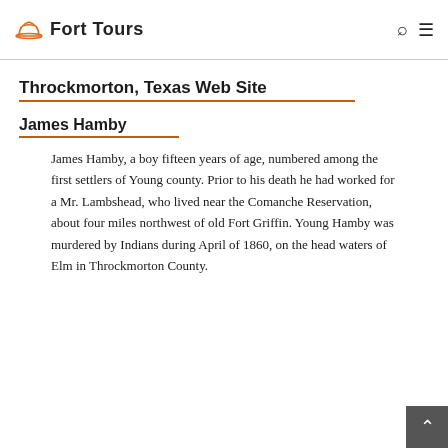Fort Tours
Throckmorton, Texas Web Site
James Hamby
James Hamby, a boy fifteen years of age, numbered among the first settlers of Young county. Prior to his death he had worked for a Mr. Lambshead, who lived near the Comanche Reservation, about four miles northwest of old Fort Griffin. Young Hamby was murdered by Indians during April of 1860, on the head waters of Elm in Throckmorton County.